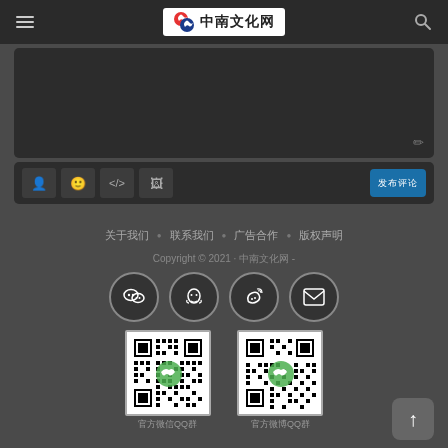中南文化网 navigation header with hamburger menu and search icon
[Figure (screenshot): Comment input text area (dark background) with pencil/edit icon in bottom right]
[Figure (screenshot): Toolbar with user, emoji, code, image buttons and blue submit button (发布评论)]
关于我们 · 联系我们 · 广告合作 · 版权声明
Copyright © 2021 · 中南文化网 -
[Figure (infographic): Four social media circular icon buttons: WeChat, QQ, Weibo, Email]
[Figure (other): Two QR codes side by side with WeChat branding overlay]
官方微信QQ群   官方微博QQ群